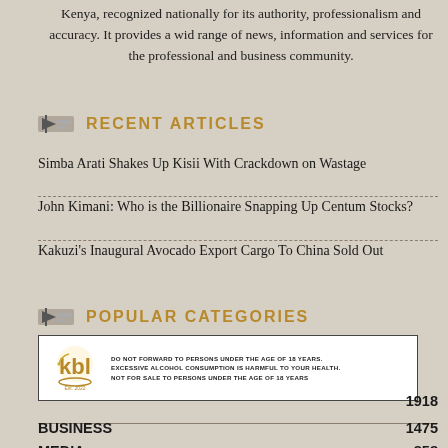Kenya, recognized nationally for its authority, professionalism and accuracy. It provides a wid range of news, information and services for the professional and business community.
RECENT ARTICLES
Simba Arati Shakes Up Kisii With Crackdown on Wastage
John Kimani: Who is the Billionaire Snapping Up Centum Stocks?
Kakuzi's Inaugural Avocado Export Cargo To China Sold Out
POPULAR CATEGORIES
[Figure (logo): KBL advertisement with logo and alcohol warning text]
1918
BUSINESS 1475
MEDIA 858